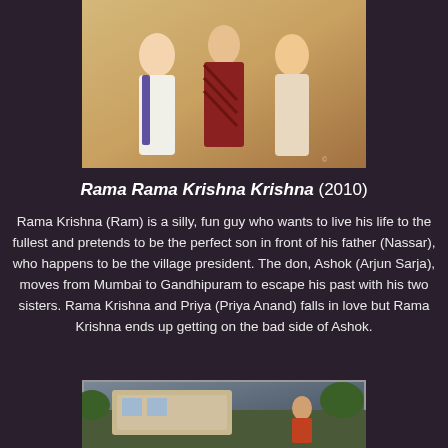[Figure (photo): Movie promotional poster showing two women and a man in traditional Indian attire against a golden background]
Rama Rama Krishna Krishna (2010)
Rama Krishna (Ram) is a silly, fun guy who wants to live his life to the fullest and pretends to be the perfect son in front of his father (Nassar), who happens to be the village president. The don, Ashok (Arjun Sarja), moves from Mumbai to Gandhipuram to escape his past with his two sisters. Rama Krishna and Priya (Priya Anand) falls in love but Rama Krishna ends up getting on the bad side of Ashok.
[Figure (photo): Another movie still or promotional image from Rama Rama Krishna Krishna]